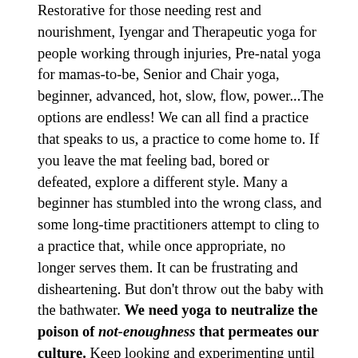Restorative for those needing rest and nourishment, Iyengar and Therapeutic yoga for people working through injuries, Pre-natal yoga for mamas-to-be, Senior and Chair yoga, beginner, advanced, hot, slow, flow, power...The options are endless! We can all find a practice that speaks to us, a practice to come home to. If you leave the mat feeling bad, bored or defeated, explore a different style. Many a beginner has stumbled into the wrong class, and some long-time practitioners attempt to cling to a practice that, while once appropriate, no longer serves them. It can be frustrating and disheartening. But don't throw out the baby with the bathwater. We need yoga to neutralize the poison of not-enoughness that permeates our culture. Keep looking and experimenting until you find the class, teacher or home practice that resonates with that deepest place inside you, and